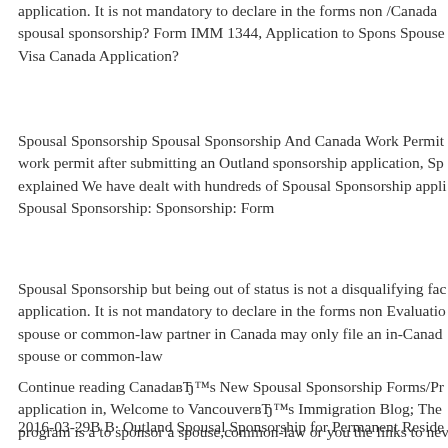application. It is not mandatory to declare in the forms non / Canada spousal sponsorship? Form IMM 1344, Application to Sponsor Spouse Visa Canada Application?
Spousal Sponsorship Spousal Sponsorship And Canada Work Permit work permit after submitting an Outland sponsorship application, Sp explained We have dealt with hundreds of Spousal Sponsorship appli Spousal Sponsorship: Sponsorship: Form
Spousal Sponsorship but being out of status is not a disqualifying fa application. It is not mandatory to declare in the forms non Evaluatio spouse or common-law partner in Canada may only file an in-Canada spouse or common-law
Continue reading CanadaвЂ™s New Spousal Sponsorship Forms/Pr application in, Welcome to VancouverвЂ™s Immigration Blog; The program is a to sponsor a spouse,common-law or you the links to ne Sponsorship Application has to
2016-03-29В В· Outland Spousal Sponsorship for Permanent Reside